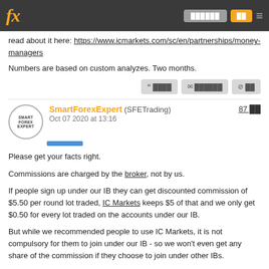fx [buttons]
read about it here: https://www.icmarkets.com/sc/en/partnerships/money-managers
Numbers are based on custom analyzes. Two months.
SmartForexExpert (SFETrading) Oct 07 2020 at 13:16 — 87 likes
Please get your facts right.
Commissions are charged by the broker, not by us.
If people sign up under our IB they can get discounted commission of $5.50 per round lot traded, IC Markets keeps $5 of that and we only get $0.50 for every lot traded on the accounts under our IB.
But while we recommended people to use IC Markets, it is not compulsory for them to join under our IB - so we won't even get any share of the commission if they choose to join under other IBs.